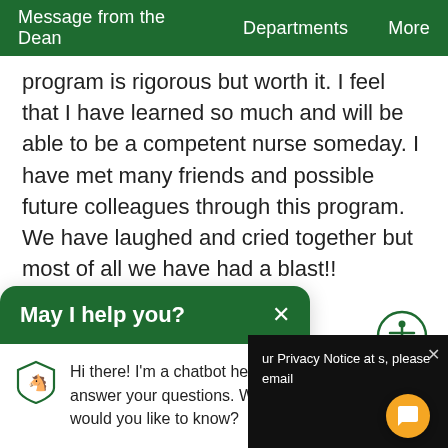Message from the Dean   Departments   More
program is rigorous but worth it. I feel that I have learned so much and will be able to be a competent nurse someday. I have met many friends and possible future colleagues through this program. We have laughed and cried together but most of all we have had a blast!!
[Figure (illustration): Accessibility icon — person with arms outstretched inside a circle, green outline]
May I help you?
Hi there! I'm a chatbot here to answer your questions. What would you like to know?
ur Privacy Notice at s, please email